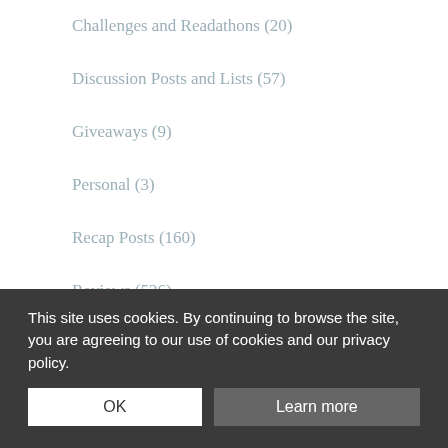Challenges and Readathons (20)
Discussion Posts and Lists (57)
Giveaways (9)
Personal (3)
Recap Posts (160)
Reviews (526)
Uncategorized (3)
META
Log in
This site uses cookies. By continuing to browse the site, you are agreeing to our use of cookies and our privacy policy.